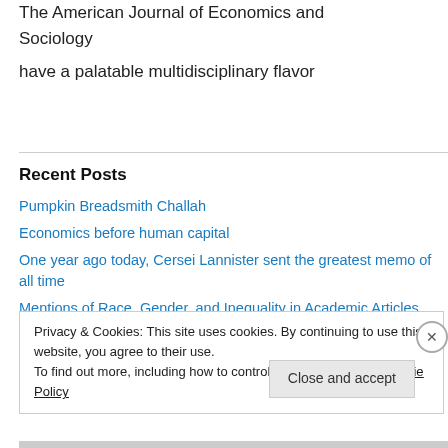The American Journal of Economics and Sociology have a palatable multidisciplinary flavor
Recent Posts
Pumpkin Breadsmith Challah
Economics before human capital
One year ago today, Cersei Lannister sent the greatest memo of all time
Mentions of Race, Gender, and Inequality in Academic Articles
Privacy & Cookies: This site uses cookies. By continuing to use this website, you agree to their use. To find out more, including how to control cookies, see here: Cookie Policy
Close and accept